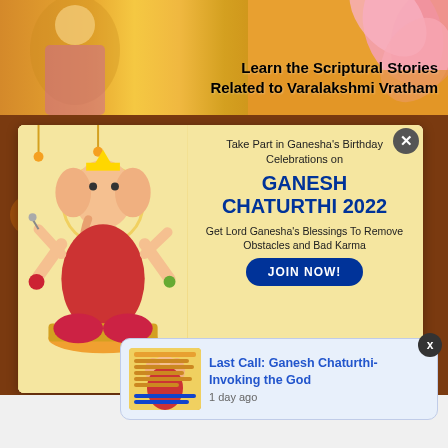[Figure (photo): Top banner showing Goddess Lakshmi with floral decorations and text 'Learn the Scriptural Stories Related to Varalakshmi Vratham']
[Figure (infographic): Popup advertisement with yellow background showing Lord Ganesha image and text about Ganesh Chaturthi 2022 celebrations with JOIN NOW button]
[Figure (screenshot): Notification card showing 'Last Call: Ganesh Chaturthi- Invoking the God' with thumbnail and '1 day ago' timestamp]